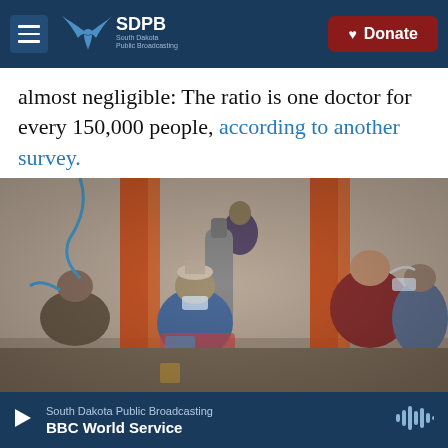SDPB South Dakota Public Broadcasting | Donate
almost negligible: The ratio is one doctor for every 150,000 people, according to another survey.
[Figure (photo): Photo of COVID-19 patients in a crowded outdoor hospital setting, some wearing oxygen masks, with orange pillars and medical oxygen tanks visible. People in masks and colorful clothing are seated and standing.]
South Dakota Public Broadcasting | BBC World Service